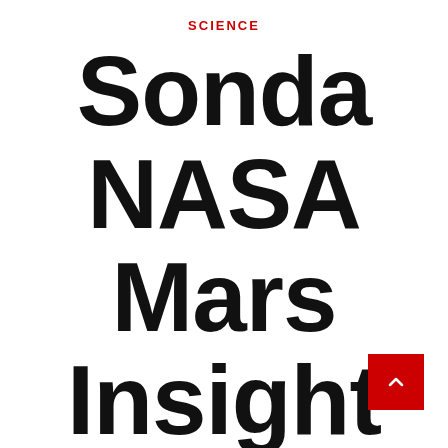SCIENCE
Sonda NASA Mars Insight otrzyma jeszcze kilka tygodni